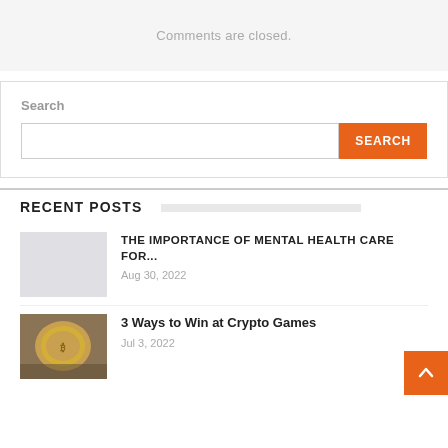Comments are closed.
Search
SEARCH
RECENT POSTS
THE IMPORTANCE OF MENTAL HEALTH CARE FOR...
Aug 30, 2022
3 Ways to Win at Crypto Games
Jul 3, 2022